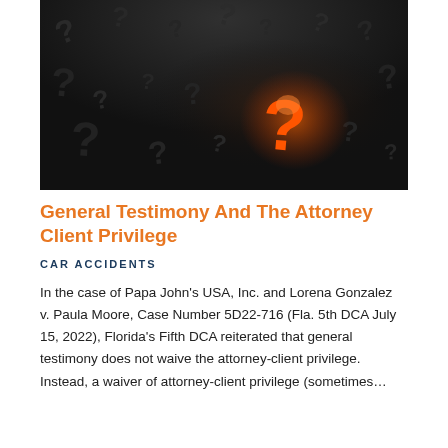[Figure (photo): Dark background with scattered 3D question mark symbols, one glowing orange/red question mark prominent in the center-right area]
General Testimony And The Attorney Client Privilege
CAR ACCIDENTS
In the case of Papa John's USA, Inc. and Lorena Gonzalez v. Paula Moore, Case Number 5D22-716 (Fla. 5th DCA July 15, 2022), Florida's Fifth DCA reiterated that general testimony does not waive the attorney-client privilege. Instead, a waiver of attorney-client privilege (sometimes...